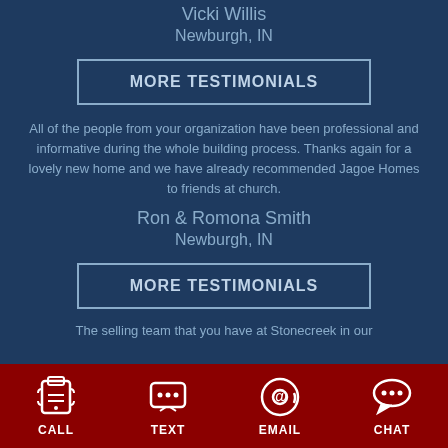Vicki Willis
Newburgh, IN
MORE TESTIMONIALS
All of the people from your organization have been professional and informative during the whole building process. Thanks again for a lovely new home and we have already recommended Jagoe Homes to friends at church.
Ron & Romona Smith
Newburgh, IN
MORE TESTIMONIALS
The selling team that you have at Stonecreek in our
CALL  TEXT  EMAIL  CHAT